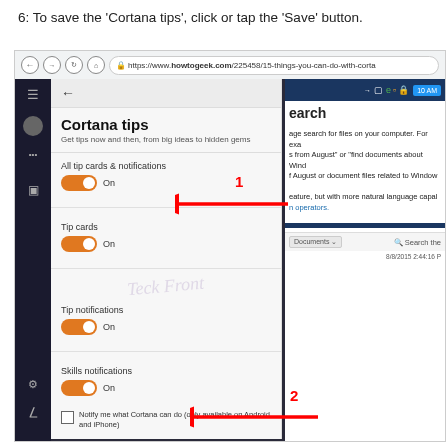6: To save the 'Cortana tips', click or tap the 'Save' button.
[Figure (screenshot): Screenshot of a Windows 10 browser showing the Cortana tips settings panel with toggles for 'All tip cards & notifications', 'Tip cards', 'Tip notifications', 'Skills notifications' all set to On, a checkbox for 'Notify me what Cortana can do (only available on Android and iPhone)', and a Save button. Red arrows labeled 1 and 2 point to the On toggle and Save button respectively. A 'Teck Front' watermark is visible.]